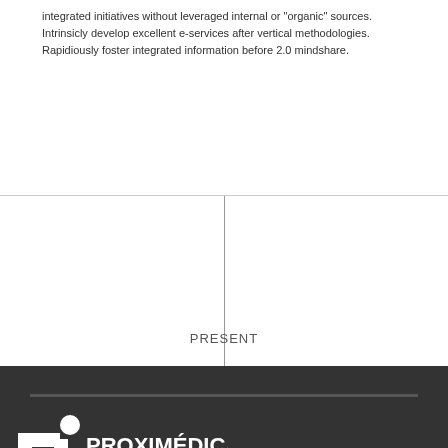integrated initiatives without leveraged internal or "organic" sources. Intrinsicly develop excellent e-services after vertical methodologies. Rapidiously foster integrated information before 2.0 mindshare.
[Figure (other): Timeline area with a vertical center line and the label PRESENT at the bottom center]
[Figure (logo): Proximédica logo — white cross/person icon with text PROXIMÉDICA and subtitle PRODUCTOS Y OXÍGENO MÉDICO on dark background]
© 2... soon
¡Te atenderemos con gusto!